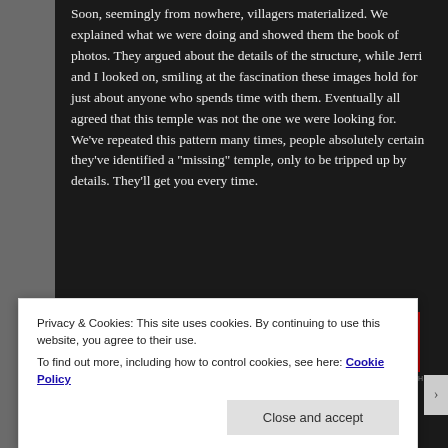Soon, seemingly from nowhere, villagers materialized. We explained what we were doing and showed them the book of photos. They argued about the details of the structure, while Jerri and I looked on, smiling at the fascination these images hold for just about anyone who spends time with them. Eventually all agreed that this temple was not the one we were looking for. We've repeated this pattern many times, people absolutely certain they've identified a "missing" temple, only to be tripped up by details. They'll get you every time.
[Figure (screenshot): Pocket Casts advertisement banner with red background and text 'for listeners.' with Pocket Casts logo and podcast device image]
REPORT THIS AD
Privacy & Cookies: This site uses cookies. By continuing to use this website, you agree to their use.
To find out more, including how to control cookies, see here: Cookie Policy
Close and accept